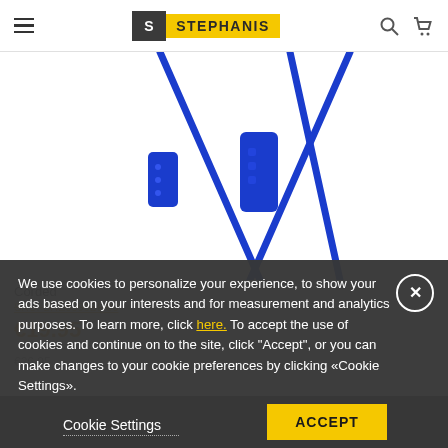STEPHANIS
[Figure (photo): Close-up photo of blue wired earphones/earbuds showing the cable and control module against a white background]
Corded
SKU: SHE3595BL/00
€19.95
€26.95
We use cookies to personalize your experience, to show your ads based on your interests and for measurement and analytics purposes. To learn more, click here. To accept the use of cookies and continue on to the site, click "Accept", or you can make changes to your cookie preferences by clicking «Cookie Settings».
Cookie Settings
ACCEPT
BUY NOW